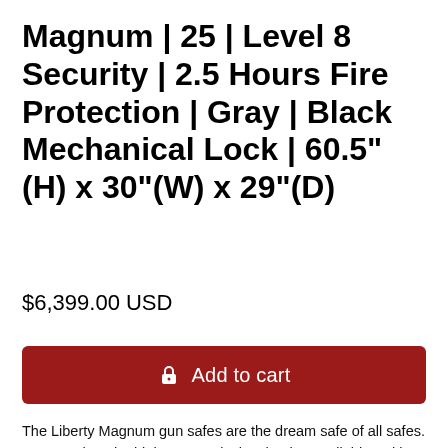Magnum | 25 | Level 8 Security | 2.5 Hours Fire Protection | Gray | Black Mechanical Lock | 60.5"(H) x 30"(W) x 29"(D)
$6,399.00 USD
Add to cart
The Liberty Magnum gun safes are the dream safe of all safes. Magnum has the highest security level rating available. With beautiful fit and finish, incredible strength and a phenomenal fire protection package, the Magnum 50 is one of the best safes in the industry today. Whether its in your home